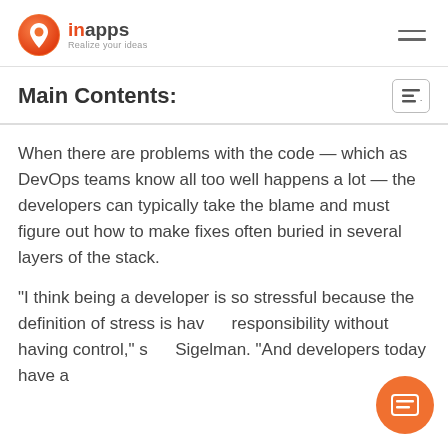inapps — Realize your ideas
Main Contents:
When there are problems with the code — which as DevOps teams know all too well happens a lot — the developers can typically take the blame and must figure out how to make fixes often buried in several layers of the stack.
“I think being a developer is so stressful because the definition of stress is having responsibility without having control,” said Sigelman. “And developers today have a